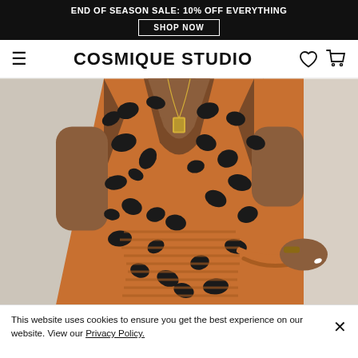END OF SEASON SALE: 10% OFF EVERYTHING
SHOP NOW
COSMIQUE STUDIO
[Figure (photo): Close-up photo of a woman wearing an orange and black leopard print wrap dress with a deep V-neckline and ruched waist tie detail, accessorized with a gold chain necklace.]
This website uses cookies to ensure you get the best experience on our website. View our Privacy Policy.